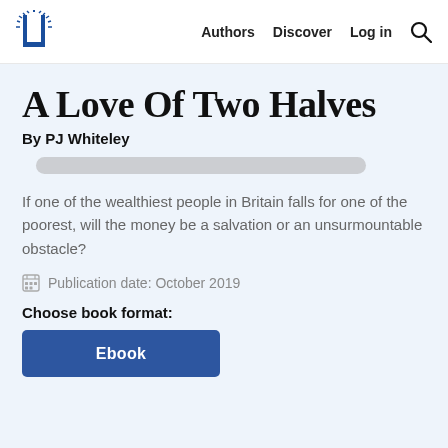Authors  Discover  Log in
A Love Of Two Halves
By PJ Whiteley
If one of the wealthiest people in Britain falls for one of the poorest, will the money be a salvation or an unsurmountable obstacle?
Publication date: October 2019
Choose book format:
Ebook